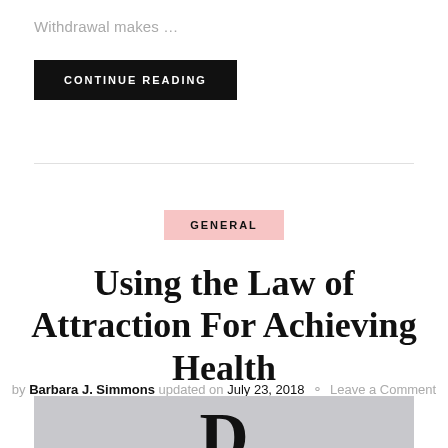Withdrawal makes …
CONTINUE READING
GENERAL
Using the Law of Attraction For Achieving Health
by Barbara J. Simmons updated on July 23, 2018  Leave a Comment
[Figure (photo): Partial image at bottom of page showing a large bold letter against a light gray background]